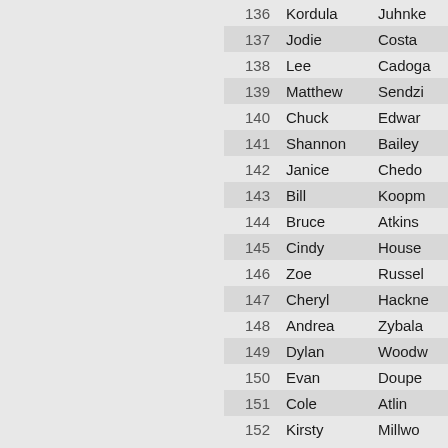| # | First Name | Last Name |
| --- | --- | --- |
| 136 | Kordula | Juhnke |
| 137 | Jodie | Costa |
| 138 | Lee | Cadogan |
| 139 | Matthew | Sendzik |
| 140 | Chuck | Edwards |
| 141 | Shannon | Bailey |
| 142 | Janice | Chedon |
| 143 | Bill | Koopmans |
| 144 | Bruce | Atkins |
| 145 | Cindy | House |
| 146 | Zoe | Russell |
| 147 | Cheryl | Hackney |
| 148 | Andrea | Zybala |
| 149 | Dylan | Woodward |
| 150 | Evan | Doupe |
| 151 | Cole | Atlin |
| 152 | Kirsty | Millwood |